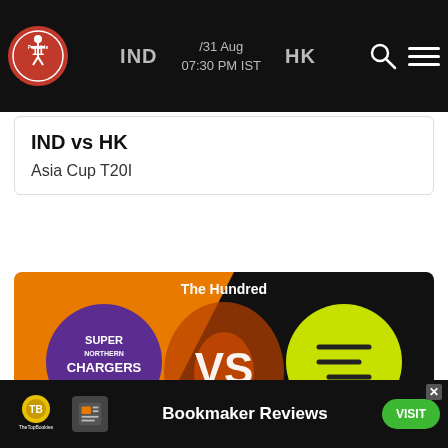Possible 11 | IND / 31 Aug 07:30 PM IST / HK
IND vs HK
Asia Cup T20I
[Figure (screenshot): The Hundred match graphic: Northern Superchargers (NOS) vs Southern Brave (SOB), 31 Aug 07:30 PM IST, orange and black background with VS text]
NOS vs SOB
The Hundred
[Figure (logo): TheTopBookies advertisement banner with Bookmaker Reviews text and VISIT button]